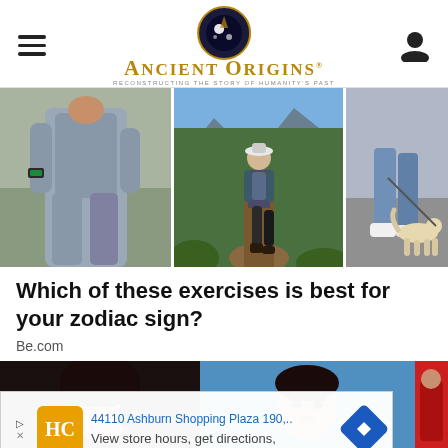Ancient Origins — Reconstructing the Story of Humanity's Past
[Figure (photo): Three-panel image: left panel shows a woman in grey athletic wear jogging; center panel shows a hiker with backpack on a mountain trail surrounded by pine trees; right panel shows legs of a person walking a dog on pavement.]
Which of these exercises is best for your zodiac sign?
Be.com
[Figure (photo): Three-panel image strip partially visible at bottom: left shows a dark-haired woman's face, center shows a person with short hair against blue background, right shows a person in red clothing.]
44110 Ashburn Shopping Plaza 190,.. View store hours, get directions,